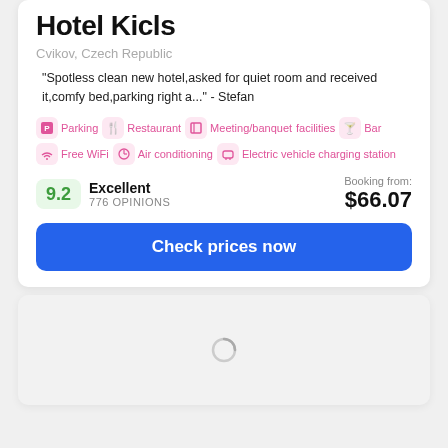Hotel Kicls
Cvikov, Czech Republic
"Spotless clean new hotel,asked for quiet room and received it,comfy bed,parking right a..." - Stefan
Parking  Restaurant  Meeting/banquet facilities  Bar  Free WiFi  Air conditioning  Electric vehicle charging station
9.2  Excellent  776 OPINIONS  Booking from: $66.07
Check prices now
[Figure (other): Loading spinner / second hotel card placeholder]